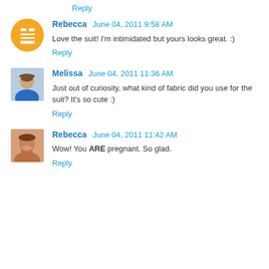Reply
Rebecca  June 04, 2011 9:58 AM
Love the suit! I'm intimidated but yours looks great. :)
Reply
Melissa  June 04, 2011 11:36 AM
Just out of curiosity, what kind of fabric did you use for the suit? It's so cute :)
Reply
Rebecca  June 04, 2011 11:42 AM
Wow! You ARE pregnant. So glad.
Reply